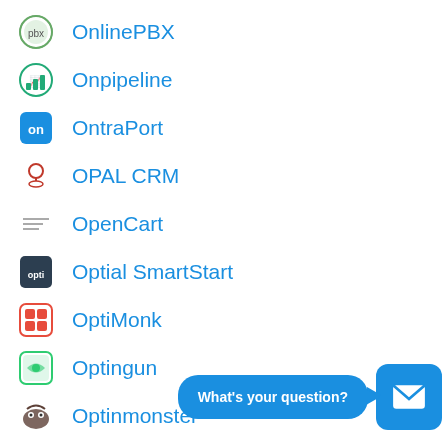OnlinePBX
Onpipeline
OntraPort
OPAL CRM
OpenCart
Optial SmartStart
OptiMonk
Optingun
Optinmonster
Oracle Sales
Orcanos
Outgrow
[Figure (screenshot): Chat widget with speech bubble saying 'What's your question?' and blue envelope icon button]